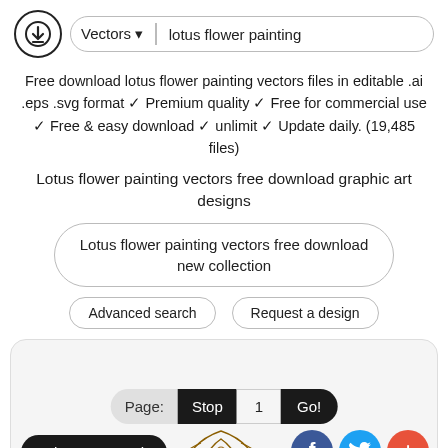[Figure (screenshot): Website header with download icon, Vectors dropdown, and search box with text 'lotus flower painting']
Free download lotus flower painting vectors files in editable .ai .eps .svg format ✓ Premium quality ✓ Free for commercial use ✓ Free & easy download ✓ unlimit ✓ Update daily. (19,485 files)
Lotus flower painting vectors free download graphic art designs
Lotus flower painting vectors free download new collection
Advanced search
Request a design
[Figure (screenshot): Content card with Page: Stop 1 Go! pagination bar, Advance Search button, social media icons (Facebook, Twitter, Plus), and partial lotus flower illustration]
Page: Stop 1 Go!
Advance Search